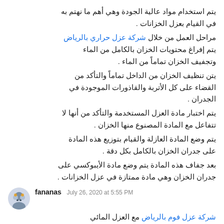يتم استخدام مواد عالية الجودة وهي أهم ما نهتم به في القيام بعزل الخزانات. مراحل العمل من خلال شركة عزل حراري بالرياض يتم إفراغ محتويات الخزان بالكامل من الماء وتجفيف الخزان تماماً من الماء. يتن تنظيف الخزان من الداخل تماماً والتأكد من القضاء على كل الأتربة والقاذورات الموجودة في الجدران. يتم اختبار مادة العزل المستخدمة والتأكد من أنها لا تتفاعل مع المادة المصنوع منها الخزان. يتم وضع المادة العازلة والقيام بتوزيع هذه المادة على جدران الخزان بالكامل بكل دقة. بعد جفاف هذه المادة يتم وضع مادة الأيبوكسي على جدران الخزان وهي مادة ممتازة في عزل الخزانات.
fananas  July 26, 2020 at 5:55 PM
العزل المائي مع شركة عزل فوم بالرياض يتم عزل الخزان من خلال استخدام مادة البيتومين التي تستخدم للقيام بعزل الخزانات من الداخل، هذه المادة تحمي من دخول الماء الجوفي والأتربة إلى داخل الخزان من الداخل. يعد العزل المائي من الطرق المتميزة التي تقوم بها الشركة في عزل الخزانات